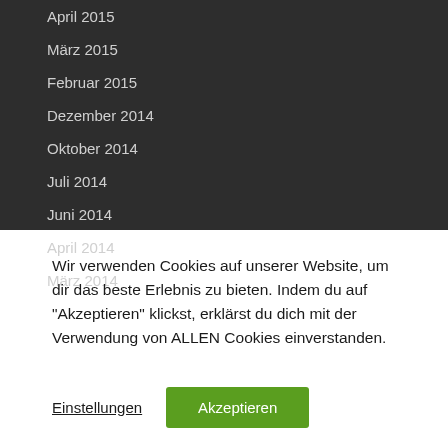April 2015
März 2015
Februar 2015
Dezember 2014
Oktober 2014
Juli 2014
Juni 2014
April 2014
März 2014
Wir verwenden Cookies auf unserer Website, um dir das beste Erlebnis zu bieten. Indem du auf "Akzeptieren" klickst, erklärst du dich mit der Verwendung von ALLEN Cookies einverstanden.
Einstellungen
Akzeptieren